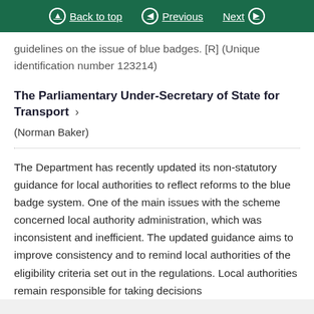Back to top | Previous | Next
guidelines on the issue of blue badges. [R] (Unique identification number 123214)
The Parliamentary Under-Secretary of State for Transport
(Norman Baker)
The Department has recently updated its non-statutory guidance for local authorities to reflect reforms to the blue badge system. One of the main issues with the scheme concerned local authority administration, which was inconsistent and inefficient. The updated guidance aims to improve consistency and to remind local authorities of the eligibility criteria set out in the regulations. Local authorities remain responsible for taking decisions